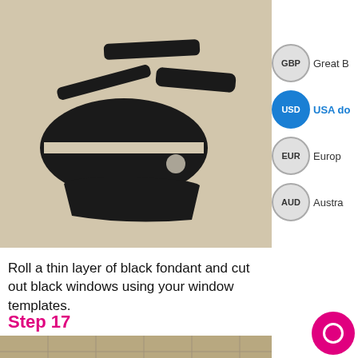[Figure (photo): Black fondant cut-outs shaped as car windows (windshield, side windows, rear window) laid out on a beige surface]
[Figure (other): Currency selector sidebar showing GBP (Great Britain Pound), USD (USA dollar, selected/highlighted in blue), EUR (Euro), AUD (Australian dollar)]
Roll a thin layer of black fondant and cut out black windows using your window templates.
Step 17
[Figure (photo): Bottom portion of next step photo showing a tiled/wooden surface, partially visible]
[Figure (other): Pink circular chat/support button in bottom right corner]